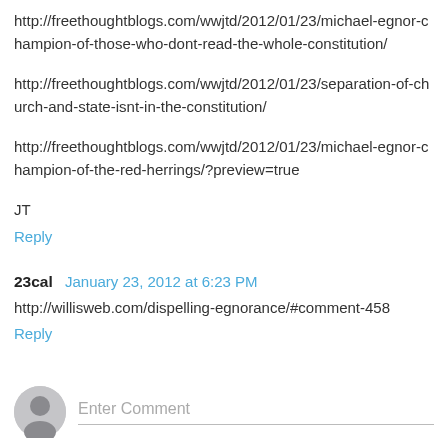http://freethoughtblogs.com/wwjtd/2012/01/23/michael-egnor-champion-of-those-who-dont-read-the-whole-constitution/
http://freethoughtblogs.com/wwjtd/2012/01/23/separation-of-church-and-state-isnt-in-the-constitution/
http://freethoughtblogs.com/wwjtd/2012/01/23/michael-egnor-champion-of-the-red-herrings/?preview=true
JT
Reply
23cal  January 23, 2012 at 6:23 PM
http://willisweb.com/dispelling-egnorance/#comment-458
Reply
Enter Comment